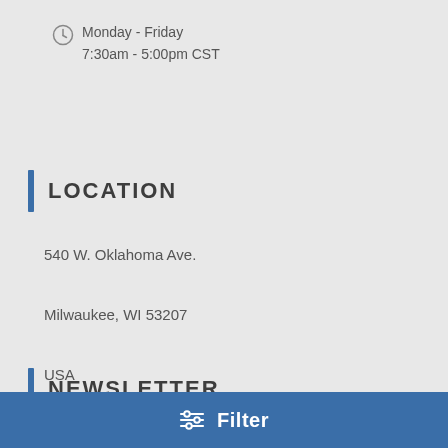Monday - Friday
7:30am - 5:00pm CST
LOCATION
540 W. Oklahoma Ave.

Milwaukee, WI 53207

USA
NEWSLETTER
Enter your email address
Filter